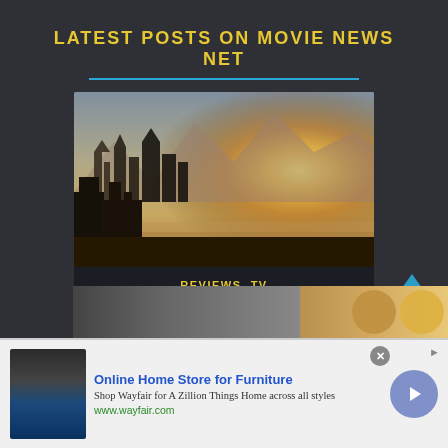LATEST POSTS ON MOVIE NEWS NET
[Figure (illustration): Fantasy castle cityscape with warm golden sunlight and misty mountains in background - movie still from The Rings of Power]
REVIEWS, TV
'THE RINGS OF POWER' BUILDS PLENTY OF PROMISING STORY AND CHARACTERS IN FIRST TWO EPISODES -- REVIEW
[Figure (photo): Advertisement banner for Wayfair Online Home Store for Furniture with appliance image and circular arrow button]
Online Home Store for Furniture
Shop Wayfair for A Zillion Things Home across all styles
www.wayfair.com